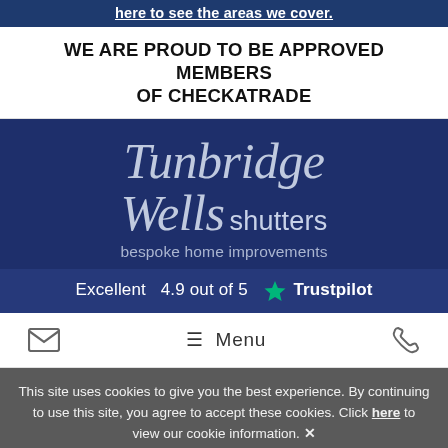here to see the areas we cover.
WE ARE PROUD TO BE APPROVED MEMBERS OF CHECKATRADE
[Figure (logo): Tunbridge Wells Shutters logo — script text 'Tunbridge Wells' in cursive with 'shutters' in sans-serif and tagline 'bespoke home improvements', on dark navy background. Below: 'Excellent 4.9 out of 5 ★ Trustpilot' on darker navy band.]
≡ Menu
This site uses cookies to give you the best experience. By continuing to use this site, you agree to accept these cookies. Click here to view our cookie information. ✕